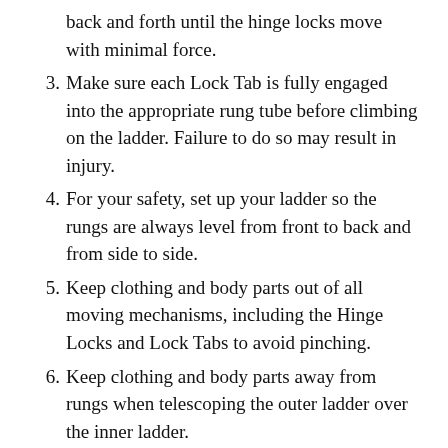back and forth until the hinge locks move with minimal force.
3. Make sure each Lock Tab is fully engaged into the appropriate rung tube before climbing on the ladder. Failure to do so may result in injury.
4. For your safety, set up your ladder so the rungs are always level from front to back and from side to side.
5. Keep clothing and body parts out of all moving mechanisms, including the Hinge Locks and Lock Tabs to avoid pinching.
6. Keep clothing and body parts away from rungs when telescoping the outer ladder over the inner ladder.
7. Use caution when using the ladder around